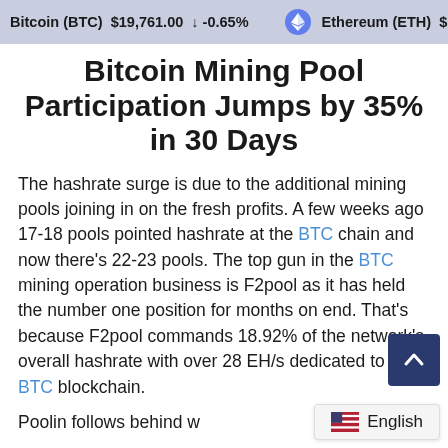Bitcoin (BTC) $19,761.00 ↓ -0.65% Ethereum (ETH) $1,60...
Bitcoin Mining Pool Participation Jumps by 35% in 30 Days
The hashrate surge is due to the additional mining pools joining in on the fresh profits. A few weeks ago 17-18 pools pointed hashrate at the BTC chain and now there's 22-23 pools. The top gun in the BTC mining operation business is F2pool as it has held the number one position for months on end. That's because F2pool commands 18.92% of the network's overall hashrate with over 28 EH/s dedicated to the BTC blockchain.
Poolin follows behind w...